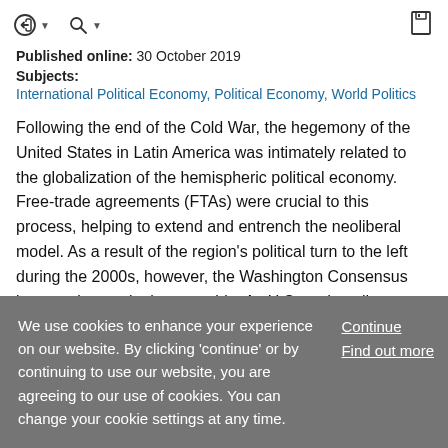Published online: 30 October 2019
Subjects:
International Political Economy, Political Economy, World Politics
Following the end of the Cold War, the hegemony of the United States in Latin America was intimately related to the globalization of the hemispheric political economy. Free-trade agreements (FTAs) were crucial to this process, helping to extend and entrench the neoliberal model. As a result of the region's political turn to the left during the 2000s, however, the Washington Consensus became increasingly untenable. As U.S. trade policy subsequently
We use cookies to enhance your experience on our website. By clicking 'continue' or by continuing to use our website, you are agreeing to our use of cookies. You can change your cookie settings at any time.